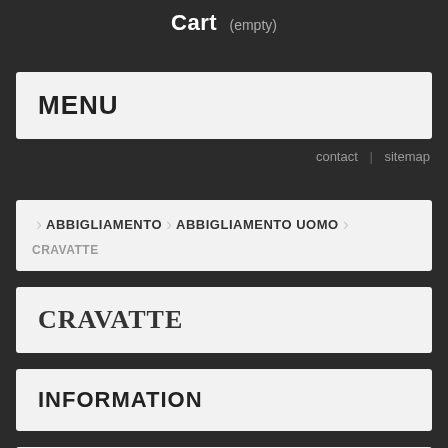Cart (empty)
MENU
contact | sitemap
ABBIGLIAMENTO > ABBIGLIAMENTO UOMO > CRAVATTE
CRAVATTE
INFORMATION
OUR STORES